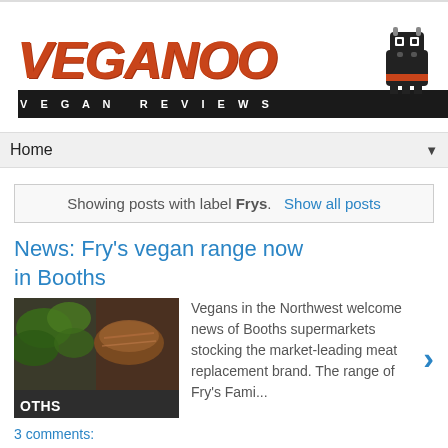VEGANOO VEGAN REVIEWS
News: Fry's vegan range now in Booths
Showing posts with label Frys. Show all posts
Vegans in the Northwest welcome news of Booths supermarkets stocking the market-leading meat replacement brand. The range of Fry's Fami...
3 comments: